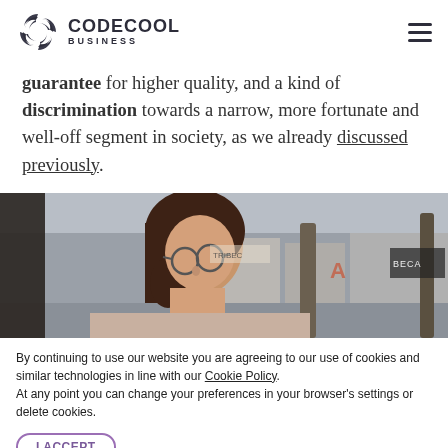CODECOOL BUSINESS
guarantee for higher quality, and a kind of discrimination towards a narrow, more fortunate and well-off segment in society, as we already discussed previously.
[Figure (photo): Photo of a young woman with glasses looking upward in an urban outdoor setting, with storefronts and trees visible in the background.]
By continuing to use our website you are agreeing to our use of cookies and similar technologies in line with our Cookie Policy. At any point you can change your preferences in your browser's settings or delete cookies.
I ACCEPT